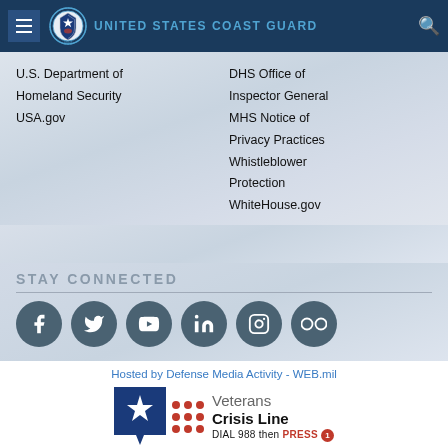United States Coast Guard
U.S. Department of Homeland Security
USA.gov
DHS Office of Inspector General
MHS Notice of Privacy Practices
Whistleblower Protection
WhiteHouse.gov
STAY CONNECTED
[Figure (infographic): Social media icons: Facebook, Twitter, YouTube, LinkedIn, Instagram, Flickr]
Hosted by Defense Media Activity - WEB.mil
[Figure (logo): Veterans Crisis Line logo with star badge, dots, text 'Veterans Crisis Line', and 'DIAL 988 then PRESS 1']